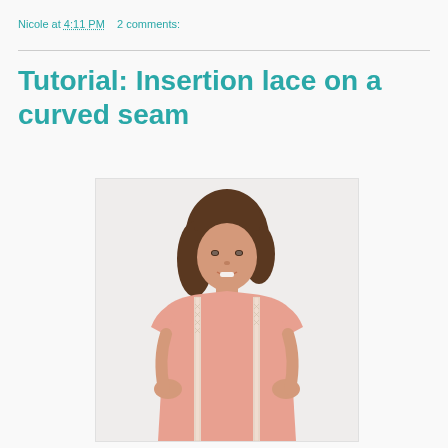Nicole at 4:11 PM   2 comments:
Tutorial: Insertion lace on a curved seam
[Figure (photo): A woman with a short brown bob haircut smiling, wearing a light pink short-sleeve top with vertical lace insertion strips along the sides/front. She has her hands on her hips against a white/light grey background.]